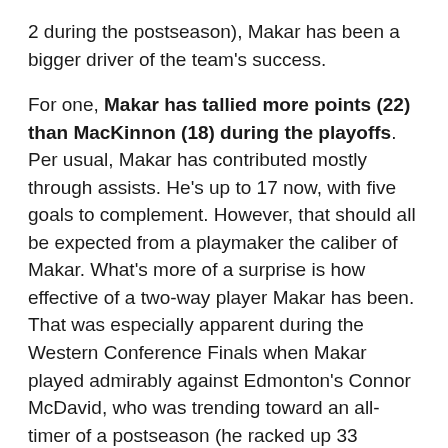2 during the postseason), Makar has been a bigger driver of the team's success.
For one, Makar has tallied more points (22) than MacKinnon (18) during the playoffs. Per usual, Makar has contributed mostly through assists. He's up to 17 now, with five goals to complement. However, that should all be expected from a playmaker the caliber of Makar. What's more of a surprise is how effective of a two-way player Makar has been. That was especially apparent during the Western Conference Finals when Makar played admirably against Edmonton's Connor McDavid, who was trending toward an all-timer of a postseason (he racked up 33 points). If Makar fares similarly against the Lightning's best playmakers, he'll deserve all the credit he'll surely get.
Makar's +175 betting line isn't as valuable as